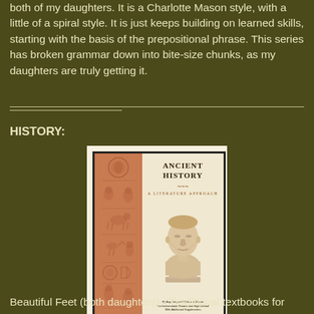both of my daughters.  It is a Charlotte Mason style, with a little of a spiral style.  It is just keeps building on learned skills, starting with the basis of the prepositional phrase. This series has broken grammar down into bite-size chunks, as my daughters are truly getting it.
HISTORY:
[Figure (photo): Book cover of 'Ancient History: A Literature Approach' showing a Roman bust sculpture on a beige/cream background with decorative terracotta-colored left panel with relief carvings]
Beautiful Feet (both daughters) - Traditional textbooks for